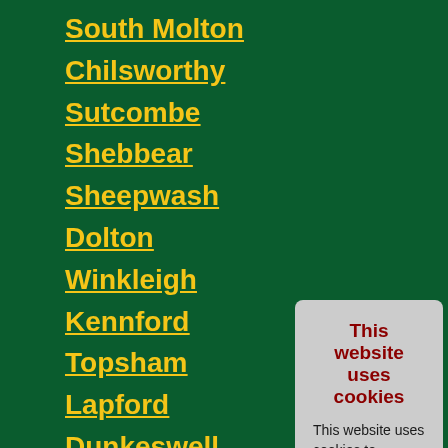South Molton
Chilsworthy
Sutcombe
Shebbear
Sheepwash
Dolton
Winkleigh
Kennford
Topsham
Lapford
Dunkeswell
Uffculme
Cheriton Fitz
Northlew
Halwill Junction
This website uses cookies

This website uses cookies to improve user experience. By using our website you consent to all cookies in accordance with our Privacy Notice.

I agree | I disagree

Read more